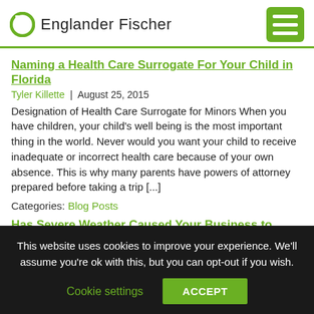Englander Fischer
Naming a Health Care Surrogate For Your Child in Florida
Tyler Killette  |  August 25, 2015
Designation of Health Care Surrogate for Minors When you have children, your child's well being is the most important thing in the world. Never would you want your child to receive inadequate or incorrect health care because of your own absence. This is why many parents have powers of attorney prepared before taking a trip [...]
Categories: Blog Posts
Has Severe Weather Caused Your Business to Suffer?
Tyler Killette  |  August 20, 2015
This website uses cookies to improve your experience. We'll assume you're ok with this, but you can opt-out if you wish. Cookie settings ACCEPT